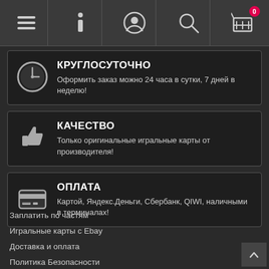[Figure (screenshot): Mobile app navigation bar with menu, info, profile, search, and cart icons]
КРУГЛОСУТОЧНО
Оформить заказ можно 24 часа в сутки, 7 дней в неделю!
КАЧЕСТВО
Только оригинальные игральные карты от производителя!
ОПЛАТА
Картой, Яндекс.Деньги, Сбербанк, QIWI, наличными в терминалах!
Заплатить по частям
Игральные карты с Ebay
Доставка и оплата
Политика Безопасности